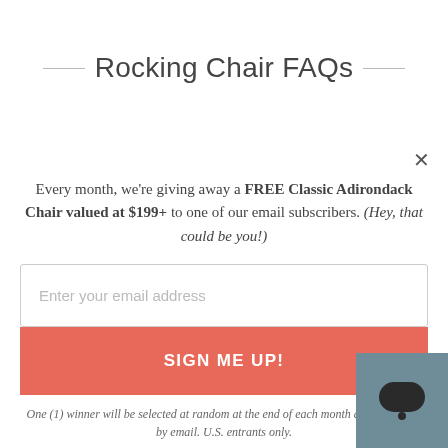Rocking Chair FAQs
Every month, we're giving away a FREE Classic Adirondack Chair valued at $199+ to one of our email subscribers. (Hey, that could be you!)
Enter your email address
SIGN ME UP!
One (1) winner will be selected at random at the end of each month and contacted by email. U.S. entrants only.